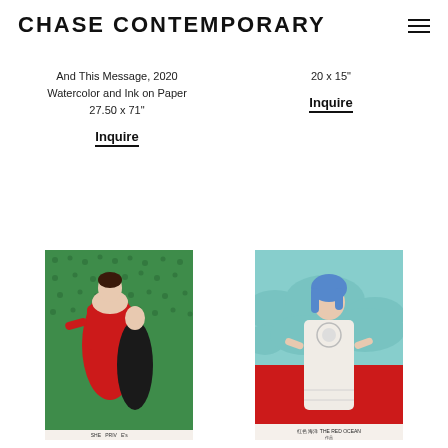CHASE CONTEMPORARY
And This Message, 2020
Watercolor and Ink on Paper
27.50 x 71"
Inquire
20 x 15"
Inquire
[Figure (illustration): Artwork showing two women, one in a red dress and one in black, against a green patterned background. Text at bottom reads 'SHE PRIV E's']
[Figure (illustration): Artwork showing a woman with blue hair wearing white garment, standing against a split red and blue-grey background. Text at bottom in Chinese and English reads '红色 海洋 THE RED OCEAN']